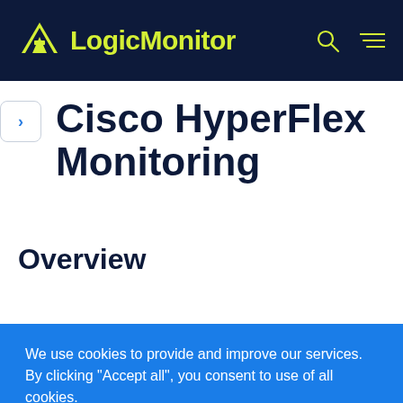LogicMonitor
Cisco HyperFlex Monitoring
Overview
We use cookies to provide and improve our services. By clicking "Accept all", you consent to use of all cookies.
Cookie settings
ACCEPT ALL